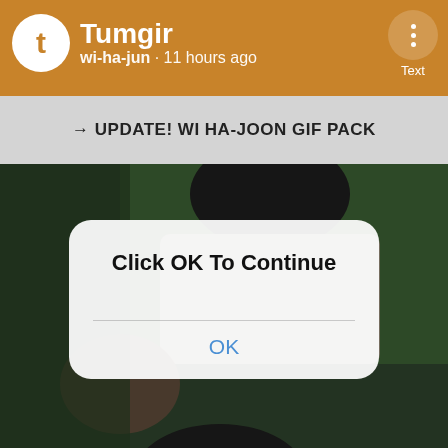Tumgir — wi-ha-jun · 11 hours ago — Text
→ UPDATE! WI HA-JOON GIF PACK
[Figure (screenshot): Screenshot of a mobile app (Tumgir) showing a post titled 'UPDATE! WI HA-JOON GIF PACK'. The background is a dark scene with a person in a grey shirt. An iOS-style modal dialog overlays the image with the text 'Click OK To Continue' in bold and a blue 'OK' button.]
Click OK To Continue
OK